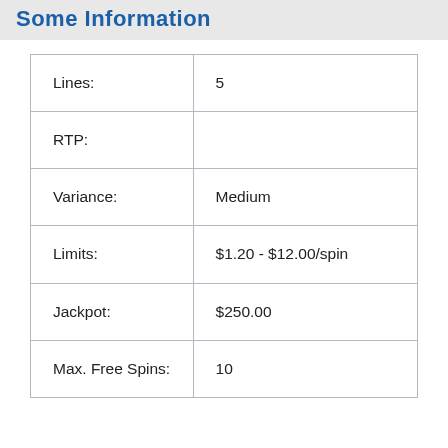Some Information
| Lines: | 5 |
| RTP: |  |
| Variance: | Medium |
| Limits: | $1.20 - $12.00/spin |
| Jackpot: | $250.00 |
| Max. Free Spins: | 10 |